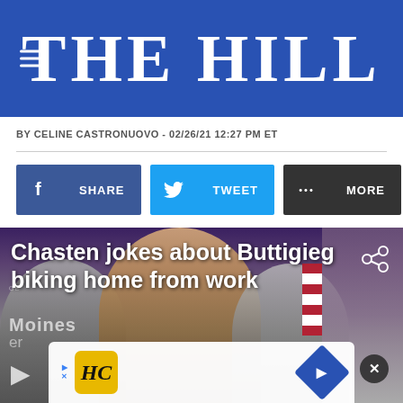THE HILL
BY CELINE CASTRONUOVO - 02/26/21 12:27 PM ET
[Figure (screenshot): Social share buttons: Facebook Share, Twitter Tweet, and More options]
[Figure (photo): Photo of people at a Des Moines event with title overlay 'Chasten jokes about Buttigieg biking home from work']
[Figure (other): Advertisement bar with HC logo and navigation arrow icon]